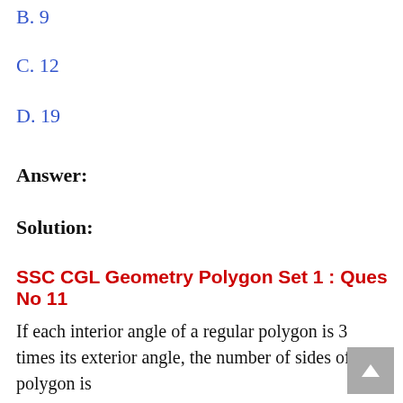B. 9
C. 12
D. 19
Answer:
Solution:
SSC CGL Geometry Polygon Set 1 : Ques No 11
If each interior angle of a regular polygon is 3 times its exterior angle, the number of sides of the polygon is